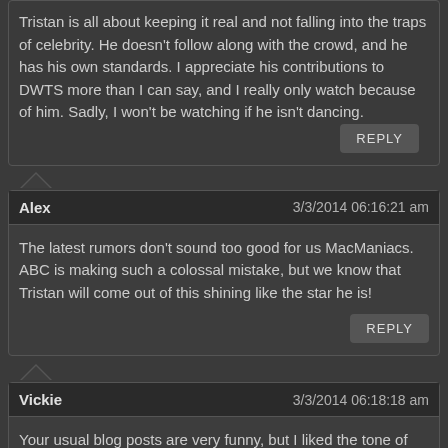Tristan is all about keeping it real and not falling into the traps of celebrity. He doesn't follow along with the crowd, and he has his own standards. I appreciate his contributions to DWTS more than I can say, and I really only watch because of him. Sadly, I won't be watching if he isn't dancing.
REPLY
Alex  3/3/2014 06:16:21 am
The latest rumors don't sound too good for us MacManiacs. ABC is making such a colossal mistake, but we know that Tristan will come out of this shining like the star he is!
REPLY
Vickie  3/3/2014 06:18:18 am
Your usual blog posts are very funny, but I liked the tone of this one even more! Tristan deserves all of the attention and support we can possibly give him.
REPLY